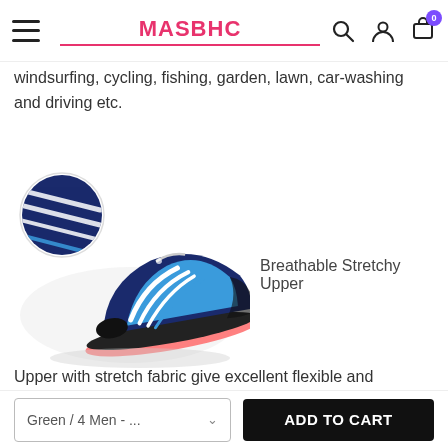MASBHC
windsurfing, cycling, fishing, garden, lawn, car-washing and driving etc.
[Figure (photo): Water shoe product photo showing a black and blue athletic water shoe with white stripe details, coral/orange sole, and a circular inset zooming in on the upper fabric texture]
Breathable Stretchy Upper
Upper with stretch fabric give excellent flexible and comfortable, skin-friendly and breathable, which create a cool